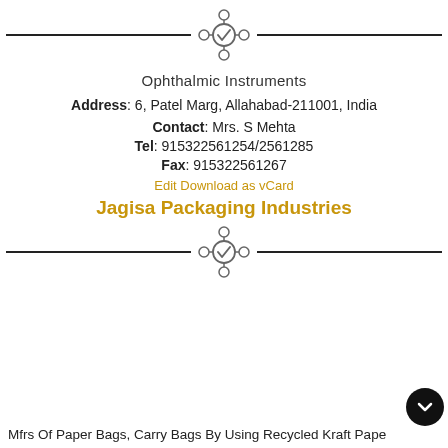[Figure (logo): Decorative divider with a circular hub-and-spokes icon with a checkmark in the center]
Ophthalmic Instruments
Address: 6, Patel Marg, Allahabad-211001, India
Contact: Mrs. S Mehta
Tel: 915322561254/2561285
Fax: 915322561267
Edit Download as vCard
Jagisa Packaging Industries
[Figure (logo): Decorative divider with a circular hub-and-spokes icon with a checkmark in the center]
Mfrs Of Paper Bags, Carry Bags By Using Recycled Kraft Paper